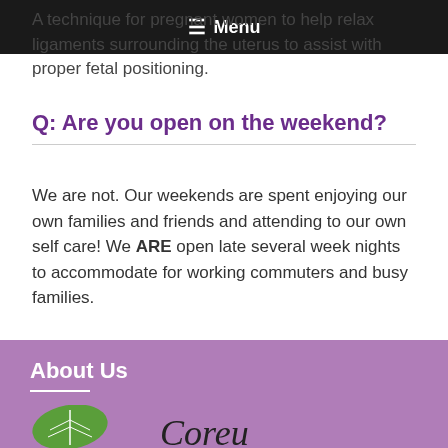☰ Menu
A technique for pregnant women to help relax ligaments surrounding the uterus to assist with proper fetal positioning.
Q: Are you open on the weekend?
We are not. Our weekends are spent enjoying our own families and friends and attending to our own self care! We ARE open late several week nights to accommodate for working commuters and busy families.
About Us